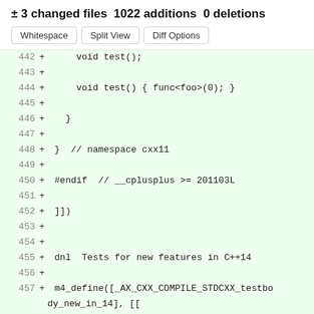± 3 changed files 1022 additions 0 deletions
Whitespace | Split View | Diff Options
442  +      void test();
443  +
444  +      void test() { func<foo>(0); }
445  +
446  +    }
447  +
448  +  }  // namespace cxx11
449  +
450  +  #endif  // __cplusplus >= 201103L
451  +
452  +  ]])
453  +
454  +
455  +  dnl  Tests for new features in C++14
456  +
457  +  m4_define([_AX_CXX_COMPILE_STDCXX_testbody_new_in_14], [[
458  +